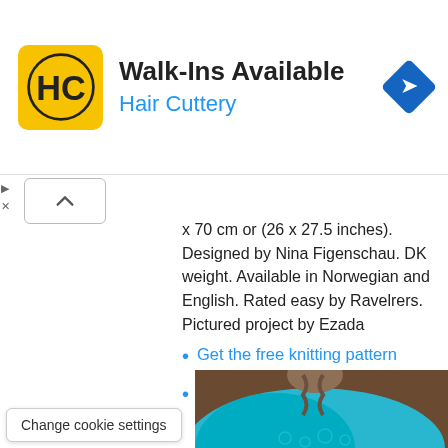[Figure (advertisement): Hair Cuttery ad banner with yellow HC logo, 'Walk-Ins Available' headline, 'Hair Cuttery' subline, and blue navigation diamond icon]
x 70 cm or (26 x 27.5 inches). Designed by Nina Figenschau. DK weight. Available in Norwegian and English. Rated easy by Ravelrers. Pictured project by Ezada
Get the free knitting pattern
See more Easy Baby Blanket Knitting Patterns
[Figure (photo): Person wearing a blue lace knitted shawl, photographed from behind, showing their braided hair and the intricate lace pattern of the shawl]
Change cookie settings